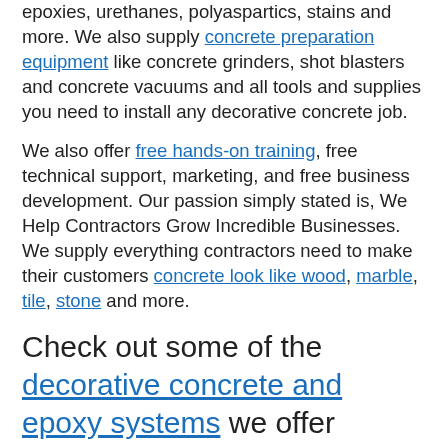epoxies, urethanes, polyaspartics, stains and more. We also supply concrete preparation equipment like concrete grinders, shot blasters and concrete vacuums and all tools and supplies you need to install any decorative concrete job.
We also offer free hands-on training, free technical support, marketing, and free business development. Our passion simply stated is, We Help Contractors Grow Incredible Businesses. We supply everything contractors need to make their customers concrete look like wood, marble, tile, stone and more.
Check out some of the decorative concrete and epoxy systems we offer Huntsville, Texas contractors. All of our products and equipment are also available for online ordering at